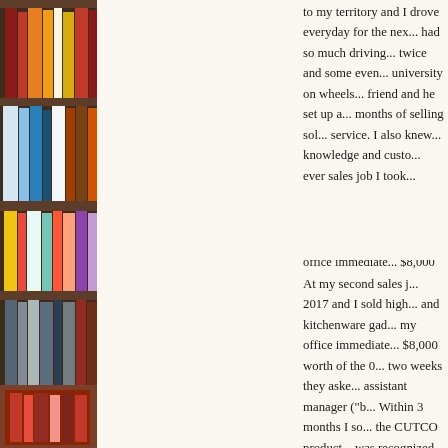[Figure (photo): Bookshelf with colorful books, dark brown shelving, visible spines of various books in warm tones]
to my territory and I drove everyday for the next... had so much driving... twice and some even... university on wheels... friend and he set up a... months of selling sol... service. I also knew... knowledge and custo... ever sales job I took...
At my second sales j... 2017 and I sold high... and kitchenware gad... my office immediate... $8,000 worth of the 0... two weeks they aske... assistant manager ("b... Within 3 months I so... the CUTCO product... was recognized with...
[Figure (other): Tweet button (blue rounded rectangle with Twitter bird icon and 'Tweet' text)]
5
[Figure (other): Share button (orange/red with plus icon and 'Share' text)]